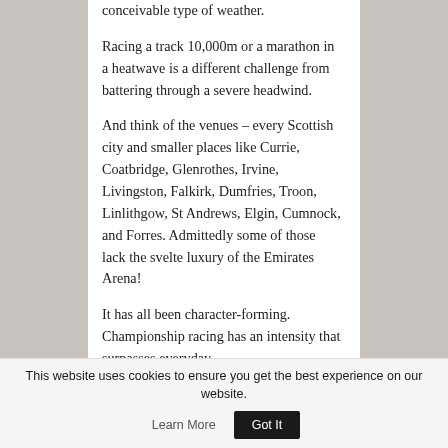conceivable type of weather.
Racing a track 10,000m or a marathon in a heatwave is a different challenge from battering through a severe headwind.
And think of the venues – every Scottish city and smaller places like Currie, Coatbridge, Glenrothes, Irvine, Livingston, Falkirk, Dumfries, Troon, Linlithgow, St Andrews, Elgin, Cumnock, and Forres. Admittedly some of those lack the svelte luxury of the Emirates Arena!
It has all been character-forming. Championship racing has an intensity that surpasses everyday
This website uses cookies to ensure you get the best experience on our website.